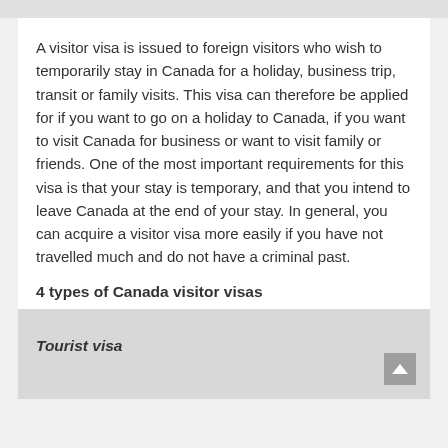A visitor visa is issued to foreign visitors who wish to temporarily stay in Canada for a holiday, business trip, transit or family visits. This visa can therefore be applied for if you want to go on a holiday to Canada, if you want to visit Canada for business or want to visit family or friends. One of the most important requirements for this visa is that your stay is temporary, and that you intend to leave Canada at the end of your stay. In general, you can acquire a visitor visa more easily if you have not travelled much and do not have a criminal past.
4 types of Canada visitor visas
Tourist visa